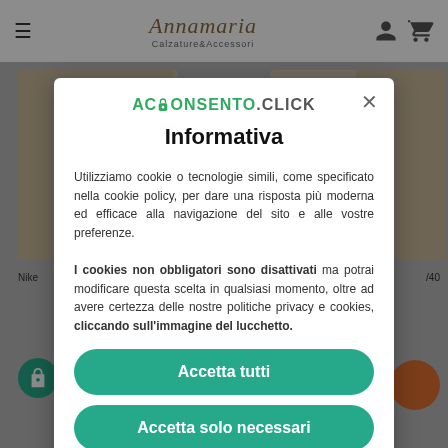Annamaria Calzature & Accessori
[Figure (screenshot): E-commerce website background with product images partially visible behind modal overlay]
Informativa
Utilizziamo cookie o tecnologie simili, come specificato nella cookie policy, per dare una risposta più moderna ed efficace alla navigazione del sito e alle vostre preferenze.

I cookies non obbligatori sono disattivati ma potrai modificare questa scelta in qualsiasi momento, oltre ad avere certezza delle nostre politiche privacy e cookies, cliccando sull'immagine del lucchetto.
Accetta tutti
Accetta solo necessari